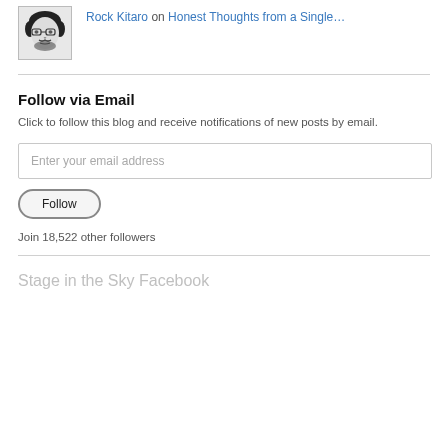[Figure (illustration): Black and white cartoon/illustration portrait of Rock Kitaro — person with curly hair, glasses, beard, facing forward]
Rock Kitaro on Honest Thoughts from a Single…
Follow via Email
Click to follow this blog and receive notifications of new posts by email.
Enter your email address
Follow
Join 18,522 other followers
Stage in the Sky Facebook